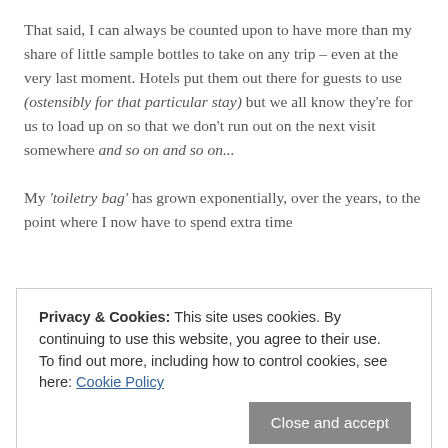That said, I can always be counted upon to have more than my share of little sample bottles to take on any trip – even at the very last moment. Hotels put them out there for guests to use (ostensibly for that particular stay) but we all know they're for us to load up on so that we don't run out on the next visit somewhere and so on and so on...
My 'toiletry bag' has grown exponentially, over the years, to the point where I now have to spend extra time
Privacy & Cookies: This site uses cookies. By continuing to use this website, you agree to their use.
To find out more, including how to control cookies, see here: Cookie Policy
And at this rate, I'll never be without the comforts